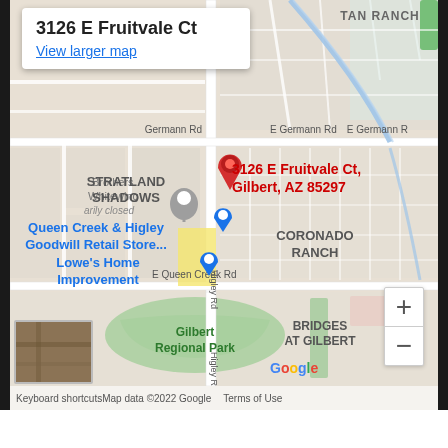[Figure (map): Google Maps screenshot showing the location of 3126 E Fruitvale Ct, Gilbert, AZ 85297. The map shows surrounding streets including E Germann Rd, E Queen Creek Rd, and Higley Rd. Nearby landmarks include Stratland Shadows neighborhood, Coronado Ranch, Bridges at Gilbert, Queen Creek & Higley Goodwill Retail Store, Lowe's Home Improvement, and Gilbert Regional Park. A red pin marks the address location.]
3126 E Fruitvale Ct
View larger map
Keyboard shortcuts   Map data ©2022 Google   Terms of Use